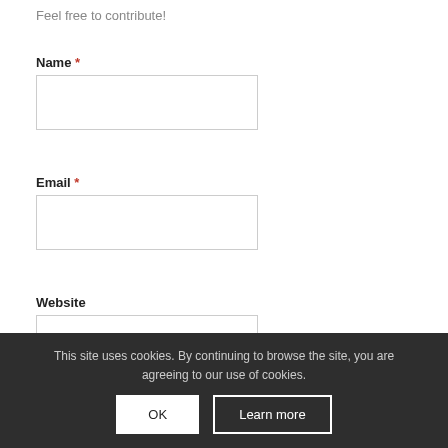Feel free to contribute!
Name *
Email *
Website
[Figure (screenshot): Cookie consent banner with OK and Learn more buttons at bottom of page]
This site uses cookies. By continuing to browse the site, you are agreeing to our use of cookies.
OK
Learn more